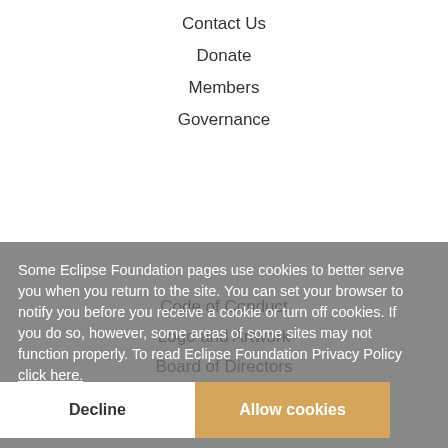Contact Us
Donate
Members
Governance
Code of Conduct
Logo and Artwork
Board of Directors
Legal
Privacy Policy
Terms of Use
Copyright Agent
Eclipse Public License
Legal Resources
Some Eclipse Foundation pages use cookies to better serve you when you return to the site. You can set your browser to notify you before you receive a cookie or turn off cookies. If you do so, however, some areas of some sites may not function properly. To read Eclipse Foundation Privacy Policy click here.
Decline
Allow cookies